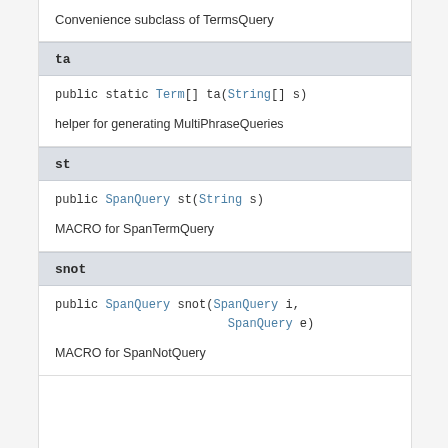Convenience subclass of TermsQuery
ta
public static Term[] ta(String[] s)
helper for generating MultiPhraseQueries
st
public SpanQuery st(String s)
MACRO for SpanTermQuery
snot
public SpanQuery snot(SpanQuery i,
                      SpanQuery e)
MACRO for SpanNotQuery